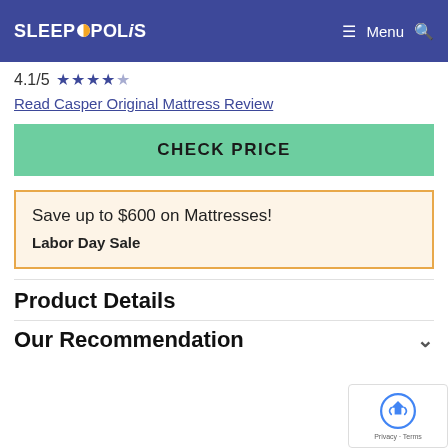SLEEPOPOLiS — Menu (hamburger icon) and Search icon
4.1/5 ★★★★☆
Read Casper Original Mattress Review
CHECK PRICE
Save up to $600 on Mattresses!
Labor Day Sale
Product Details
Our Recommendation